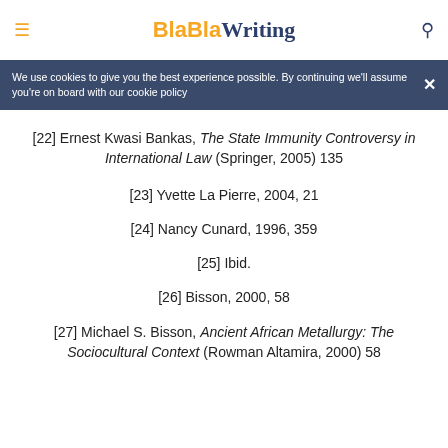BlaBlaWriting
We use cookies to give you the best experience possible. By continuing we'll assume you're on board with our cookie policy
[22] Ernest Kwasi Bankas, The State Immunity Controversy in International Law (Springer, 2005) 135
[23] Yvette La Pierre, 2004, 21
[24] Nancy Cunard, 1996, 359
[25] Ibid.
[26] Bisson, 2000, 58
[27] Michael S. Bisson, Ancient African Metallurgy: The Sociocultural Context (Rowman Altamira, 2000) 58